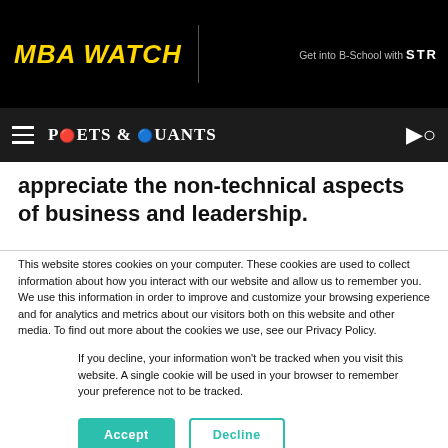MBA WATCH
Get into B-School with STR
POETS & QUANTS
appreciate the non-technical aspects of business and leadership.
This website stores cookies on your computer. These cookies are used to collect information about how you interact with our website and allow us to remember you. We use this information in order to improve and customize your browsing experience and for analytics and metrics about our visitors both on this website and other media. To find out more about the cookies we use, see our Privacy Policy.
If you decline, your information won't be tracked when you visit this website. A single cookie will be used in your browser to remember your preference not to be tracked.
Accept  Decline